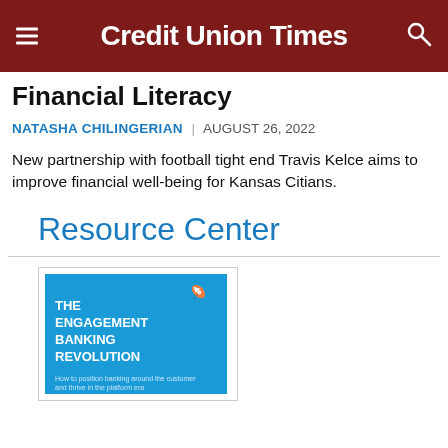Credit Union Times
Financial Literacy
NATASHA CHILINGERIAN | AUGUST 26, 2022
New partnership with football tight end Travis Kelce aims to improve financial well-being for Kansas Citians.
Resource Center
[Figure (illustration): Book cover for 'The Engagement Banking Revolution' on a blue background with a rocket icon and dotted arc path decoration.]